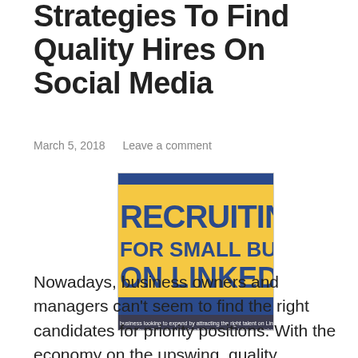Strategies To Find Quality Hires On Social Media
March 5, 2018    Leave a comment
[Figure (photo): Book cover image for 'Recruiting for Small Businesses on LinkedIn' with yellow background and dark blue text, showing the title text partially cropped: 'RECRUITING FOR SMALL BUSINESSES ON LINKEDIN' with subtitle text at the bottom.]
Nowadays, business owners and managers can’t seem to find the right candidates for priority positions. With the economy on the upswing, quality candidates are becoming